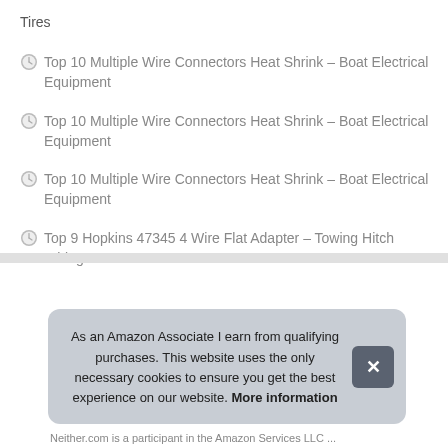Tires
Top 10 Multiple Wire Connectors Heat Shrink – Boat Electrical Equipment
Top 10 Multiple Wire Connectors Heat Shrink – Boat Electrical Equipment
Top 10 Multiple Wire Connectors Heat Shrink – Boat Electrical Equipment
Top 9 Hopkins 47345 4 Wire Flat Adapter – Towing Hitch Wiring
As an Amazon Associate I earn from qualifying purchases. This website uses the only necessary cookies to ensure you get the best experience on our website. More information
Neither.com is a participant in the Amazon Services LLC ...